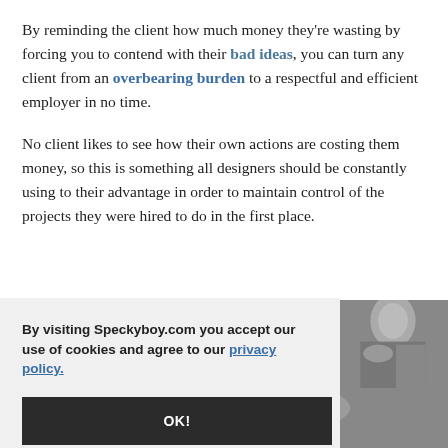By reminding the client how much money they're wasting by forcing you to contend with their bad ideas, you can turn any client from an overbearing burden to a respectful and efficient employer in no time.
No client likes to see how their own actions are costing them money, so this is something all designers should be constantly using to their advantage in order to maintain control of the projects they were hired to do in the first place.
By visiting Speckyboy.com you accept our use of cookies and agree to our privacy policy.
[Figure (photo): Grayscale photo of a person, partially visible on the right side and bottom of the page]